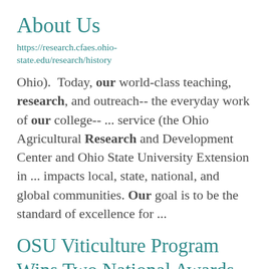About Us
https://research.cfaes.ohio-state.edu/research/history
Ohio).  Today, our world-class teaching, research, and outreach-- the everyday work of our college-- ... service (the Ohio Agricultural Research and Development Center and Ohio State University Extension in ... impacts local, state, national, and global communities. Our goal is to be the standard of excellence for ...
OSU Viticulture Program Wins Two National Awards for Best Extension Materials